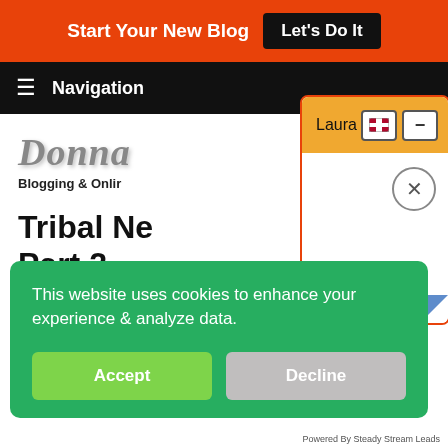Start Your New Blog  Let's Do It
Navigation
[Figure (screenshot): Chat widget popup with orange header showing 'Laura', flag and minus button icons, white body with X close button, and blue corner triangle]
Tribal Ne... Part 2
by Donna Merrill
This website uses cookies to enhance your experience & analyze data.
Accept   Decline
Powered By Steady Stream Leads